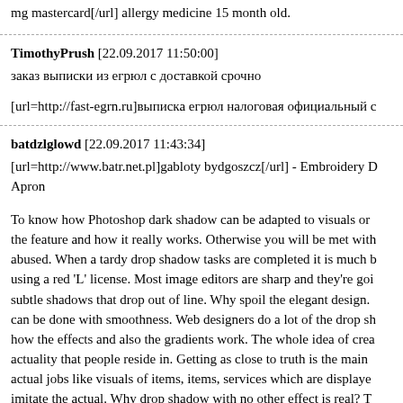mg mastercard[/url] allergy medicine 15 month old.
TimothyPrush [22.09.2017 11:50:00]
заказ выписки из егрюл с доставкой срочно
[url=http://fast-egrn.ru]выписка егрюл налоговая официальный с
batdzlglowd [22.09.2017 11:43:34]
[url=http://www.batr.net.pl]gabloty bydgoszcz[/url] - Embroidery D Apron
To know how Photoshop dark shadow can be adapted to visuals or the feature and how it really works. Otherwise you will be met with abused. When a tardy drop shadow tasks are completed it is much b using a red 'L' license. Most image editors are sharp and they're goi subtle shadows that drop out of line. Why spoil the elegant design. can be done with smoothness. Web designers do a lot of the drop sh how the effects and also the gradients work. The whole idea of crea actuality that people reside in. Getting as close to truth is the main actual jobs like visuals of items, items, services which are displaye imitate the actual. Why drop shadow with no other effect is real? T of daily life also. Hence many digital images are manufactured mo